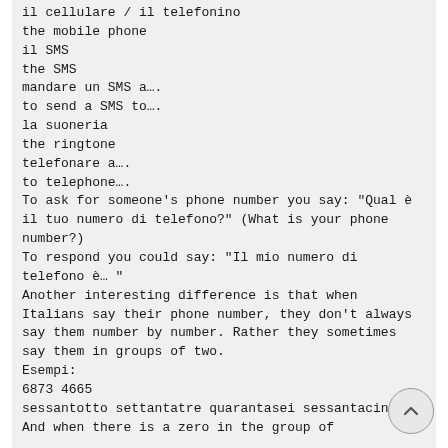il cellulare / il telefonino
the mobile phone
il SMS
the SMS
mandare un SMS a….
to send a SMS to….
la suoneria
the ringtone
telefonare a….
to telephone….
To ask for someone's phone number you say: "Qual è il tuo numero di telefono?" (What is your phone number?)
To respond you could say: "Il mio numero di telefono è… "
Another interesting difference is that when Italians say their phone number, they don't always say them number by number. Rather they sometimes say them in groups of two.
Esempi:
6873 4665
sessantotto settantatre quarantasei sessantacinque
And when there is a zero in the group of